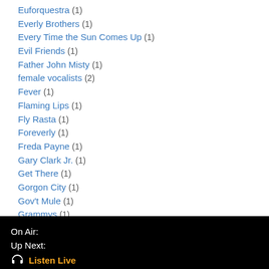Euforquestra (1)
Everly Brothers (1)
Every Time the Sun Comes Up (1)
Evil Friends (1)
Father John Misty (1)
female vocalists (2)
Fever (1)
Flaming Lips (1)
Fly Rasta (1)
Foreverly (1)
Freda Payne (1)
Gary Clark Jr. (1)
Get There (1)
Gorgon City (1)
Gov't Mule (1)
Grammys (1)
Gran Reserva (1)
On Air:
Up Next:
🎧 Listen Live